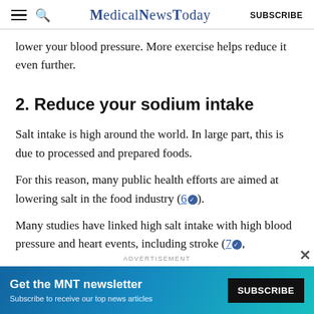MedicalNewsToday — SUBSCRIBE
lower your blood pressure. More exercise helps reduce it even further.
2. Reduce your sodium intake
Salt intake is high around the world. In large part, this is due to processed and prepared foods.
For this reason, many public health efforts are aimed at lowering salt in the food industry (6✓).
Many studies have linked high salt intake with high blood pressure and heart events, including stroke (7✓, –
ADVERTISEMENT
[Figure (other): Advertisement banner: Get the MNT newsletter — Subscribe to receive our top news articles — SUBSCRIBE button]